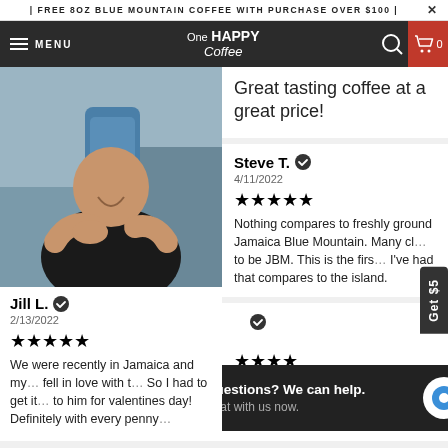| FREE 8OZ BLUE MOUNTAIN COFFEE WITH PURCHASE OVER $100 | X
One HAPPY Coffee — MENU — cart 0
[Figure (photo): Man smiling, holding a large bag of Blue Mountain coffee in a kitchen setting]
Jill L. ✓
2/13/2022
★★★★★
We were recently in Jamaica and my… fell in love with t… So I had to get it… to him for valentines day! Definitely with every penny…
Great tasting coffee at a great price!
Steve T. ✓
4/11/2022
★★★★★
Nothing compares to freshly ground Jamaica Blue Mountain. Many cl… to be JBM. This is the firs… I've had that compares to the island.
Questions? We can help.
Chat with us now.